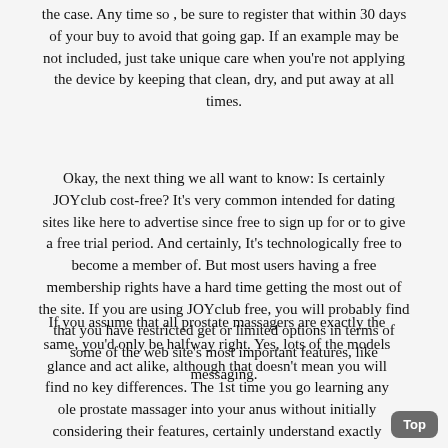the case. Any time so , be sure to register that within 30 days of your buy to avoid that going gap. If an example may be not included, just take unique care when you're not applying the device by keeping that clean, dry, and put away at all times.
Okay, the next thing we all want to know: Is certainly JOYclub cost-free? It's very common intended for dating sites like here to advertise since free to sign up for or to give a free trial period. And certainly, It's technologically free to become a member of. But most users having a free membership rights have a hard time getting the most out of the site. If you are using JOYclub free, you will probably find that you have restricted get or limited options in terms of some of the web site's most important features, like messaging.
If you assume that all prostate massagers are exactly the same, you'd only be halfway right. Yes, lots of the models glance and act alike, although that doesn't mean you will find no key differences. The 1st time you go learning any ole prostate massager into your anus without initially considering their features, certainly understand exactly what I'm speaking about.